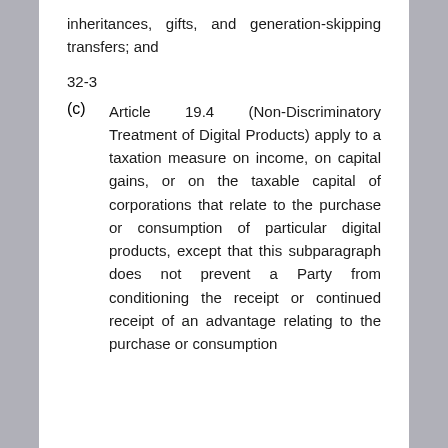inheritances, gifts, and generation-skipping transfers; and
32-3
(c)   Article 19.4 (Non-Discriminatory Treatment of Digital Products) apply to a taxation measure on income, on capital gains, or on the taxable capital of corporations that relate to the purchase or consumption of particular digital products, except that this subparagraph does not prevent a Party from conditioning the receipt or continued receipt of an advantage relating to the purchase or consumption